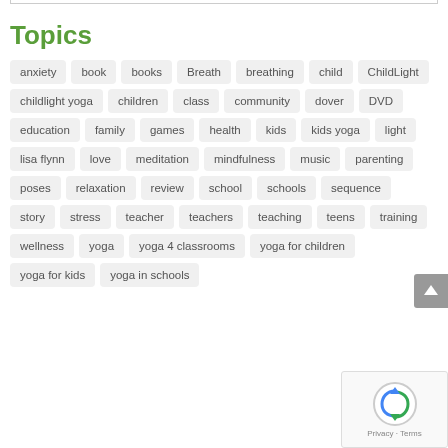Topics
anxiety
book
books
Breath
breathing
child
ChildLight
childlight yoga
children
class
community
dover
DVD
education
family
games
health
kids
kids yoga
light
lisa flynn
love
meditation
mindfulness
music
parenting
poses
relaxation
review
school
schools
sequence
story
stress
teacher
teachers
teaching
teens
training
wellness
yoga
yoga 4 classrooms
yoga for children
yoga for kids
yoga in schools